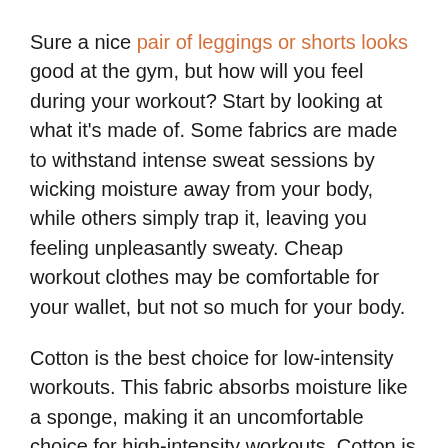Sure a nice pair of leggings or shorts looks good at the gym, but how will you feel during your workout? Start by looking at what it's made of. Some fabrics are made to withstand intense sweat sessions by wicking moisture away from your body, while others simply trap it, leaving you feeling unpleasantly sweaty. Cheap workout clothes may be comfortable for your wallet, but not so much for your body.
Cotton is the best choice for low-intensity workouts. This fabric absorbs moisture like a sponge, making it an uncomfortable choice for high-intensity workouts. Cotton is perfect for low-impact workouts where you'll sweat less, like light weight training or slow yoga moves.